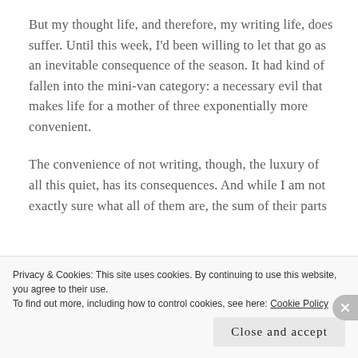But my thought life, and therefore, my writing life, does suffer. Until this week, I'd been willing to let that go as an inevitable consequence of the season. It had kind of fallen into the mini-van category: a necessary evil that makes life for a mother of three exponentially more convenient.
The convenience of not writing, though, the luxury of all this quiet, has its consequences. And while I am not exactly sure what all of them are, the sum of their parts
Privacy & Cookies: This site uses cookies. By continuing to use this website, you agree to their use.
To find out more, including how to control cookies, see here: Cookie Policy
Close and accept